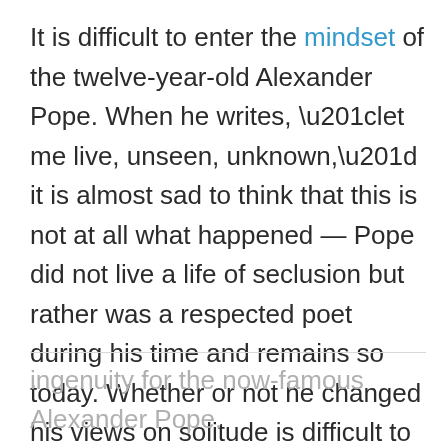It is difficult to enter the mindset of the twelve-year-old Alexander Pope. When he writes, “let me live, unseen, unknown,” it is almost sad to think that this is not at all what happened — Pope did not live a life of seclusion but rather was a respected poet during his time and remains so today. Whether or not he changed his views on solitude is difficult to say. What is clear is that his Ode on Solitude was just the start of what would eventually become a literary career of classical fame and definite
ingenuity for the now-famous Alexander Pope.